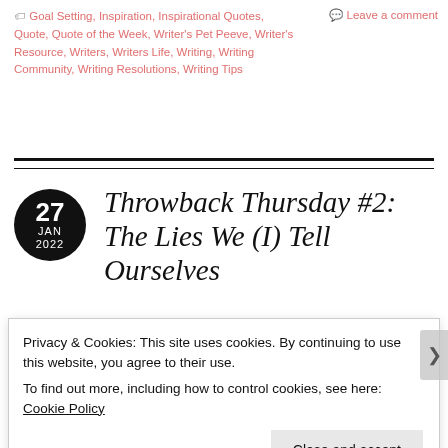🏷 Goal Setting, Inspiration, Inspirational Quotes, Quote, Quote of the Week, Writer's Pet Peeve, Writer's Resource, Writers, Writers Life, Writing, Writing Community, Writing Resolutions, Writing Tips
💬 Leave a comment
Throwback Thursday #2: The Lies We (I) Tell Ourselves (Myself)
Privacy & Cookies: This site uses cookies. By continuing to use this website, you agree to their use.
To find out more, including how to control cookies, see here: Cookie Policy
Close and accept